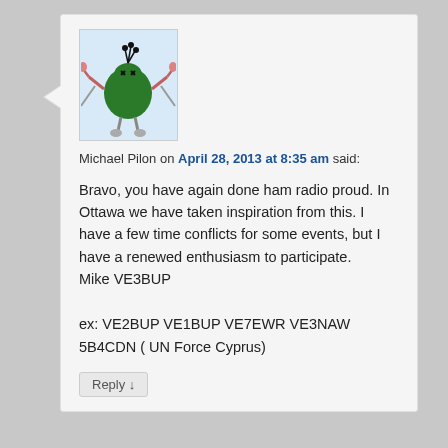[Figure (illustration): Avatar image: cartoon illustration of a green figure with arms outstretched, x-shaped eyes, with what appears to be a plant or hair on top, on a light blue background]
Michael Pilon on April 28, 2013 at 8:35 am said:
Bravo, you have again done ham radio proud. In Ottawa we have taken inspiration from this. I have a few time conflicts for some events, but I have a renewed enthusiasm to participate.
Mike VE3BUP

ex: VE2BUP VE1BUP VE7EWR VE3NAW 5B4CDN ( UN Force Cyprus)
Reply ↓